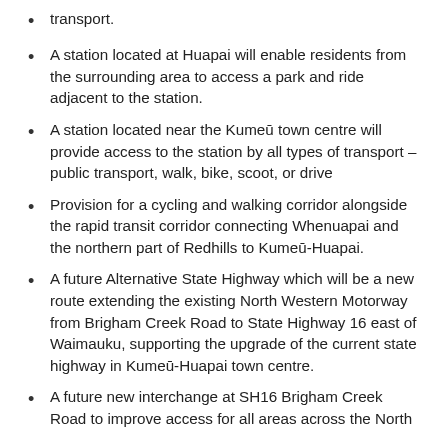transport.
A station located at Huapai will enable residents from the surrounding area to access a park and ride adjacent to the station.
A station located near the Kumeū town centre will provide access to the station by all types of transport – public transport, walk, bike, scoot, or drive
Provision for a cycling and walking corridor alongside the rapid transit corridor connecting Whenuapai and the northern part of Redhills to Kumeū-Huapai.
A future Alternative State Highway which will be a new route extending the existing North Western Motorway from Brigham Creek Road to State Highway 16 east of Waimauku, supporting the upgrade of the current state highway in Kumeū-Huapai town centre.
A future new interchange at SH16 Brigham Creek Road to improve access for all areas across the North